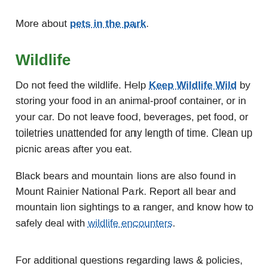More about pets in the park.
Wildlife
Do not feed the wildlife. Help Keep Wildlife Wild by storing your food in an animal-proof container, or in your car. Do not leave food, beverages, pet food, or toiletries unattended for any length of time. Clean up picnic areas after you eat.
Black bears and mountain lions are also found in Mount Rainier National Park. Report all bear and mountain lion sightings to a ranger, and know how to safely deal with wildlife encounters.
For additional questions regarding laws & policies, contact the Chief Ranger's Office at 360-569-6612